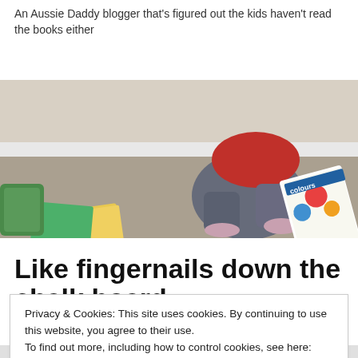An Aussie Daddy blogger that's figured out the kids haven't read the books either
[Figure (photo): Child sitting on ground holding a colorful 'colours' book, with other books scattered around]
Like fingernails down the chalk board
[Figure (photo): Partially visible image below the article title, cropped by cookie banner]
Privacy & Cookies: This site uses cookies. By continuing to use this website, you agree to their use.
To find out more, including how to control cookies, see here: Cookie Policy
Close and accept